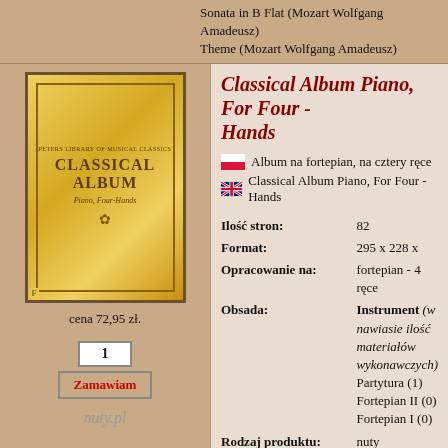Sonata in B Flat (Mozart Wolfgang Amadeusz) Theme (Mozart Wolfgang Amadeusz)
Classical Album Piano, For Four - Hands
[Figure (illustration): Book cover of Classical Album Piano, For Four - Hands with yellow/gold cover]
Album na fortepian, na cztery ręce
Classical Album Piano, For Four - Hands
| Ilość stron: | 82 |
| Format: | 295 x 228 x |
| Opracowanie na: | fortepian - 4 ręce |
| Obsada: | Instrument (w nawiasie ilość materiałów wykonawczych)
Partytura (1)
Fortepian II (0)
Fortepian I (0) |
| Rodzaj produktu: | nuty drukowane |
| Wersja językowa: | tytułów utworów: angielska
UWAGA: korzystanie z publikacji nie wymaga znajomości języka obcego. |
cena 72,95 zł.
1
Zamawiam
nuty.pl